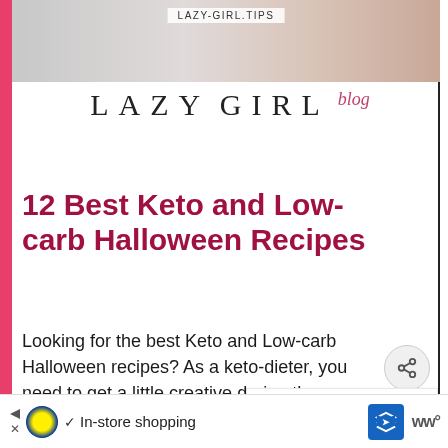[Figure (photo): Top banner image of a blog header with marble and cream background textures, with 'LAZY-GIRL.TIPS' watermark overlay]
LAZY GIRL blog
12 Best Keto and Low-carb Halloween Recipes
Looking for the best Keto and Low-carb Halloween recipes? As a keto-dieter, you need to get a little creative during the holiday season so you don't miss out any fun. If you're living the low carb lifestyle but finding it tricky to decide what kind of
[Figure (infographic): What's Next panel showing Easy Boiled Egg Diet Plan with a photo of boiled egg]
WHAT'S NEXT → Easy Boiled Egg Diet Pla...
In-store shopping (Lidl advertisement)